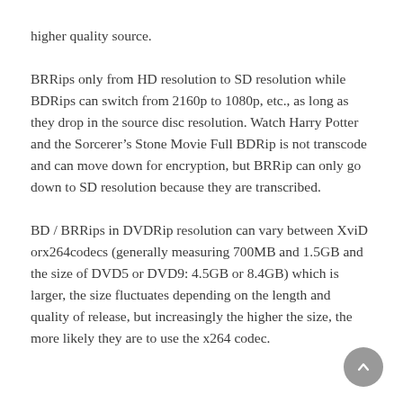higher quality source.
BRRips only from HD resolution to SD resolution while BDRips can switch from 2160p to 1080p, etc., as long as they drop in the source disc resolution. Watch Harry Potter and the Sorcerer’s Stone Movie Full BDRip is not transcode and can move down for encryption, but BRRip can only go down to SD resolution because they are transcribed.
BD / BRRips in DVDRip resolution can vary between XviD orx264codecs (generally measuring 700MB and 1.5GB and the size of DVD5 or DVD9: 4.5GB or 8.4GB) which is larger, the size fluctuates depending on the length and quality of release, but increasingly the higher the size, the more likely they are to use the x264 codec.